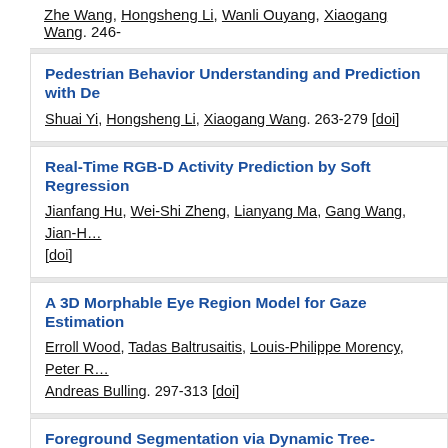Zhe Wang, Hongsheng Li, Wanli Ouyang, Xiaogang Wang. 246-
Pedestrian Behavior Understanding and Prediction with De…
Shuai Yi, Hongsheng Li, Xiaogang Wang. 263-279 [doi]
Real-Time RGB-D Activity Prediction by Soft Regression
Jianfang Hu, Wei-Shi Zheng, Lianyang Ma, Gang Wang, Jian-H… [doi]
A 3D Morphable Eye Region Model for Gaze Estimation
Erroll Wood, Tadas Baltrusaitis, Louis-Philippe Morency, Peter R… Andreas Bulling. 297-313 [doi]
Foreground Segmentation via Dynamic Tree-Structured Spa…
Salehe Erfanian Ebadi, Ebroul Izquierdo. 314-329 [doi]
Contextual Priming and Feedback for Faster R-CNN
Abhinav Shrivastava, Abhinav Gupta. 330-348 [doi]